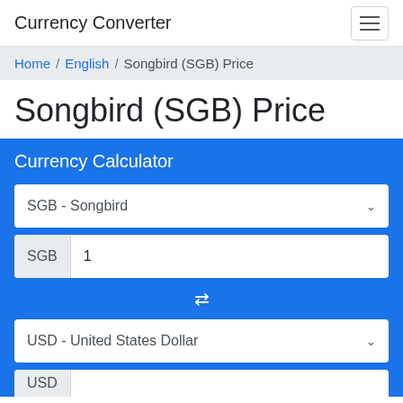Currency Converter
Home / English / Songbird (SGB) Price
Songbird (SGB) Price
Currency Calculator
SGB - Songbird
SGB 1
USD - United States Dollar